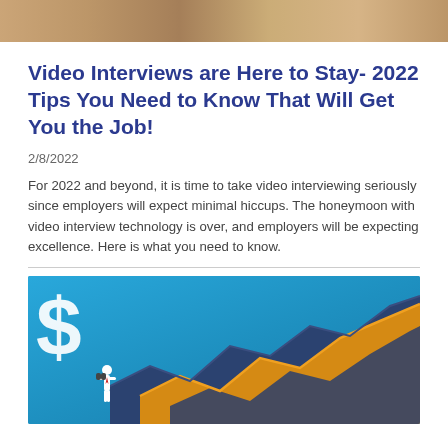[Figure (photo): Top portion of a photo showing what appears to be a desk/workspace background, cropped to a thin strip at the top of the page.]
Video Interviews are Here to Stay- 2022 Tips You Need to Know That Will Get You the Job!
2/8/2022
For 2022 and beyond, it is time to take video interviewing seriously since employers will expect minimal hiccups. The honeymoon with video interview technology is over, and employers will be expecting excellence. Here is what you need to know.
[Figure (illustration): Illustration with blue background showing a large white dollar sign on the left, a small figure of a person standing and looking through binoculars, and a multi-layered zigzag/area chart with dark navy and orange colored rising trend lines suggesting financial growth.]